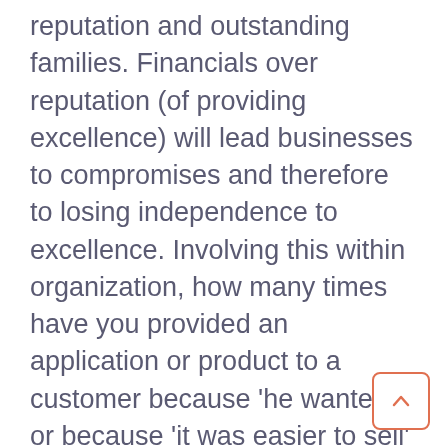reputation and outstanding families. Financials over reputation (of providing excellence) will lead businesses to compromises and therefore to losing independence to excellence. Involving this within organization, how many times have you provided an application or product to a customer because 'he wanted it' or because 'it was easier to sell' versus 'a solution that you knew would really be best one???? What number of times? I'll answer it for you – plenty. The reason is the pressure done to to deliver on economic independence survey results.
Micro marketing is about breaking it down.figuring out all the steps that lead up to more sector. You need to just how to measure each marketing approach to taking you further